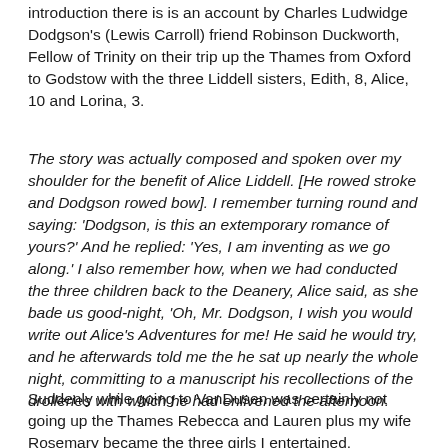introduction there is is an account by Charles Ludwidge Dodgson's (Lewis Carroll) friend Robinson Duckworth, Fellow of Trinity on their trip up the Thames from Oxford to Godstow with the three Liddell sisters, Edith, 8, Alice, 10 and Lorina, 3.
The story was actually composed and spoken over my shoulder for the benefit of Alice Liddell. [He rowed stroke and Dodgson rowed bow]. I remember turning round and saying: 'Dodgson, is this an extemporary romance of yours?' And he replied: 'Yes, I am inventing as we go along.' I also remember how, when we had conducted the three children back to the Deanery, Alice said, as she bade us good-night, 'Oh, Mr. Dodgson, I wish you would write out Alice's Adventures for me! He said he would try, and he afterwards told me the he sat up nearly the whole night, committing to a manuscript his recollections of the drolleries with which he had enlivened the afternoon.
Suddenly while going to VanDusen was certainly not going up the Thames Rebecca and Lauren plus my wife Rosemary became the three girls I entertained.